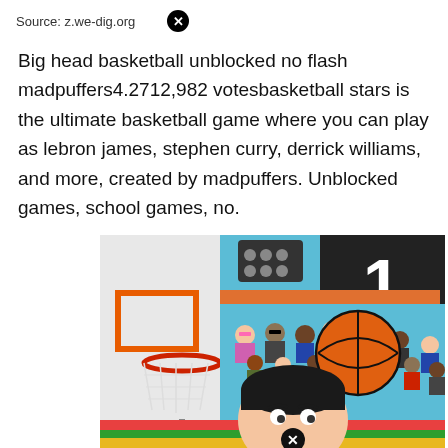Source: z.we-dig.org
Big head basketball unblocked no flash madpuffers4.2712,982 votesbasketball stars is the ultimate basketball game where you can play as lebron james, stephen curry, derrick williams, and more, created by madpuffers. Unblocked games, school games, no.
[Figure (screenshot): Screenshot of a basketball video game showing a cartoon basketball hoop on the left with orange frame and red rim with netting, and on the right a colorful basketball court scene with animated crowd spectators, a large orange basketball, a scoreboard showing the number 1, and a cartoon player character with dark hair at the bottom center. A close button (X circle) is visible at the bottom center of the image.]